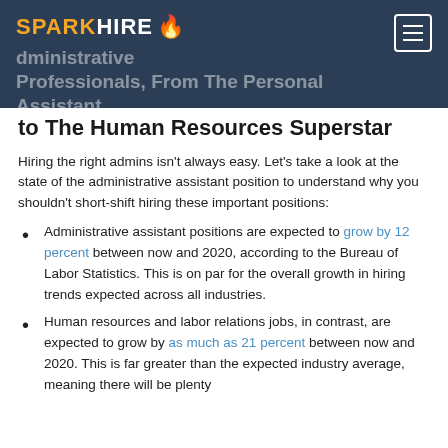SPARK HIRE — Administrative Professionals, From The Personal Assistant to The Human Resources Superstar
to The Human Resources Superstar
Hiring the right admins isn't always easy. Let's take a look at the state of the administrative assistant position to understand why you shouldn't short-shift hiring these important positions:
Administrative assistant positions are expected to grow by 12 percent between now and 2020, according to the Bureau of Labor Statistics. This is on par for the overall growth in hiring trends expected across all industries.
Human resources and labor relations jobs, in contrast, are expected to grow by as much as 21 percent between now and 2020. This is far greater than the expected industry average, meaning there will be plenty of HR positions your company (like) to fill.